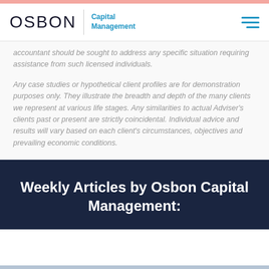OSBON Capital Management
accountant should be sought to address any specific situation requiring assistance from such licensed individuals.
Any case studies or hypothetical client profiles are for demonstration purposes only. They illustrate the breadth and depth of the many clients we represent at various life stages. Any similarities to actual Adviser's clients past or present are strictly coincidental. Individual advice and results will vary based on each client's circumstances, objectives and prevailing economic conditions.
Weekly Articles by Osbon Capital Management: